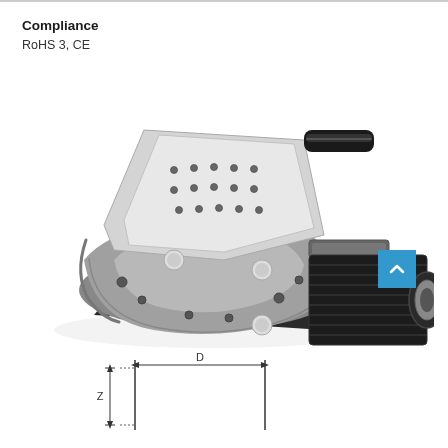Compliance
RoHS 3, CE
[Figure (photo): Industrial motorized rotation stage / goniometer with stepper motor and encoded actuator. The device features a silver/gray aluminum arc-shaped base with mounting holes, a tilted top platform with a grid of mounting holes, and a large black stepper motor with cooling fins attached on the right side. A black cylindrical knob/actuator is visible at the upper right. A blue scroll-to-top button is overlaid in the lower right corner of the image.]
[Figure (engineering-diagram): Simple dimensional line diagram showing a side profile of the device with labeled dimensions: Z (vertical height) and D (horizontal depth/length), with two vertical lines indicating the overall footprint.]